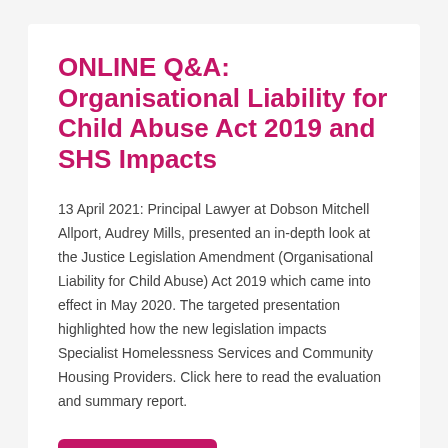ONLINE Q&A: Organisational Liability for Child Abuse Act 2019 and SHS Impacts
13 April 2021: Principal Lawyer at Dobson Mitchell Allport, Audrey Mills, presented an in-depth look at the Justice Legislation Amendment (Organisational Liability for Child Abuse) Act 2019 which came into effect in May 2020. The targeted presentation highlighted how the new legislation impacts Specialist Homelessness Services and Community Housing Providers. Click here to read the evaluation and summary report.
Read more